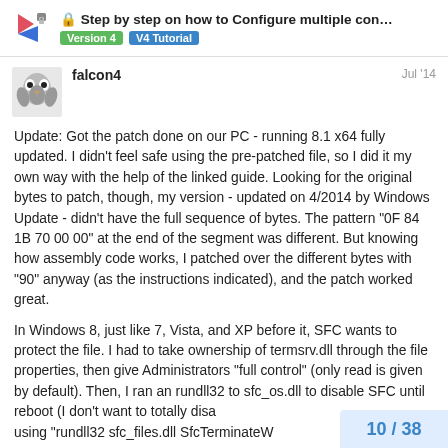Step by step on how to Configure multiple con... | Version 4 | V4 Tutorial
falcon4  Jul '14
Update: Got the patch done on our PC - running 8.1 x64 fully updated. I didn't feel safe using the pre-patched file, so I did it my own way with the help of the linked guide. Looking for the original bytes to patch, though, my version - updated on 4/2014 by Windows Update - didn't have the full sequence of bytes. The pattern "0F 84 1B 70 00 00" at the end of the segment was different. But knowing how assembly code works, I patched over the different bytes with "90" anyway (as the instructions indicated), and the patch worked great.
In Windows 8, just like 7, Vista, and XP before it, SFC wants to protect the file. I had to take ownership of termsrv.dll through the file properties, then give Administrators "full control" (only read is given by default). Then, I ran an rundll32 to sfc_os.dll to disable SFC until reboot (I don't want to totally disa  using "rundll32 sfc_files.dll SfcTerminateW